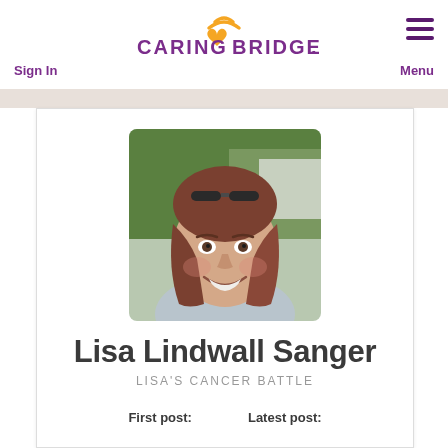CaringBridge — Sign In | Menu
[Figure (logo): CaringBridge logo with orange wifi/heart icon and purple text]
Sign In
Menu
[Figure (photo): Portrait photo of a smiling woman with brown hair, outdoors with greenery in background]
Lisa Lindwall Sanger
LISA'S CANCER BATTLE
First post:
Latest post: